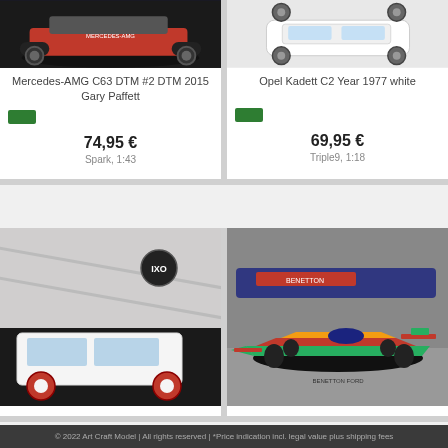[Figure (photo): Model car photo: Mercedes-AMG C63 DTM #2 DTM 2015 Gary Paffett on dark display base]
Mercedes-AMG C63 DTM #2 DTM 2015 Gary Paffett
74,95 €
Spark, 1:43
[Figure (photo): Model car photo: Opel Kadett C2 Year 1977 white on white background]
Opel Kadett C2 Year 1977 white
69,95 €
Triple9, 1:18
[Figure (photo): Model car photo: white vintage station wagon on black display base, Ixo Models packaging]
[Figure (photo): Model car photo: Benetton Ford F1 race car in red/green/blue/yellow livery on grey display base]
© 2022 Art Craft Model | All rights reserved | *Price indication incl. legal value plus shipping fees